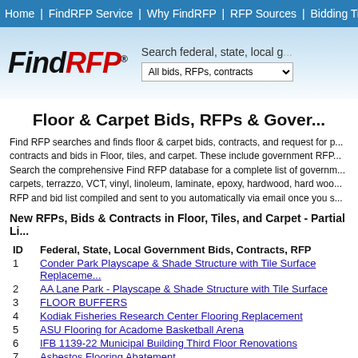Home | FindRFP Service | Why FindRFP | RFP Sources | Bidding Tips
[Figure (logo): FindRFP logo with search bar showing 'Search federal, state, local g...' and dropdown 'All bids, RFPs, contracts']
Floor & Carpet Bids, RFPs & Gover...
Find RFP searches and finds floor & carpet bids, contracts, and request for p... contracts and bids in Floor, tiles, and carpet. These include government RFP... Search the comprehensive Find RFP database for a complete list of governm... carpets, terrazzo, VCT, vinyl, linoleum, laminate, epoxy, hardwood, hard woo... RFP and bid list compiled and sent to you automatically via email once you s...
New RFPs, Bids & Contracts in Floor, Tiles, and Carpet - Partial Li...
| ID | Federal, State, Local Government Bids, Contracts, RFP |
| --- | --- |
| 1 | Conder Park Playscape & Shade Structure with Tile Surface Replaceme... |
| 2 | AA Lane Park - Playscape & Shade Structure with Tile Surface |
| 3 | FLOOR BUFFERS |
| 4 | Kodiak Fisheries Research Center Flooring Replacement |
| 5 | ASU Flooring for Acadome Basketball Arena |
| 6 | IFB 1139-22 Municipal Building Third Floor Renovations |
| 7 | Asbestos Flooring Abatement |